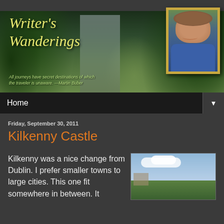[Figure (photo): Blog header banner showing a forest waterfall scene with the title 'Writer's Wanderings' in yellow italic script, a quote about journeys, and a framed portrait photo of a smiling woman on the right side.]
Home
Friday, September 30, 2011
Kilkenny Castle
Kilkenny was a nice change from Dublin. I prefer smaller towns to large cities. This one fit somewhere in between. It
[Figure (photo): Outdoor photo showing sky with clouds and green trees/vegetation, likely at Kilkenny Castle grounds.]